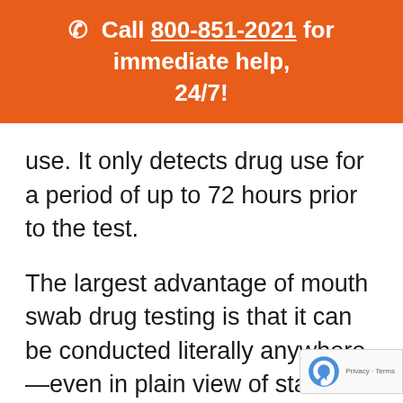📞 Call 800-851-2021 for immediate help, 24/7!
use. It only detects drug use for a period of up to 72 hours prior to the test.
The largest advantage of mouth swab drug testing is that it can be conducted literally anywhere—even in plain view of staff. The test only requires placing a mouth swab between the lower cheek